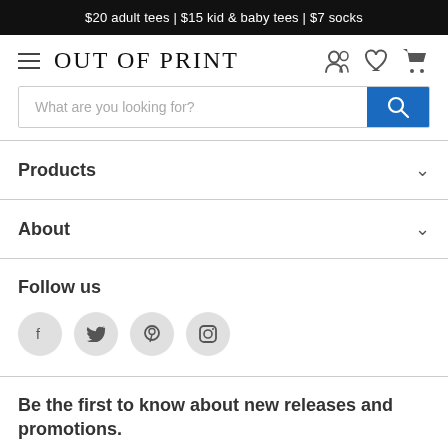$20 adult tees | $15 kid & baby tees | $7 socks
Out of Print
What are you looking for?
Products
About
Follow us
Be the first to know about new releases and promotions.